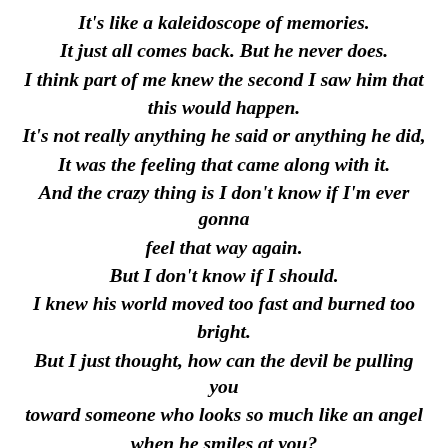It's like a kaleidoscope of memories. It just all comes back. But he never does. I think part of me knew the second I saw him that this would happen. It's not really anything he said or anything he did, It was the feeling that came along with it. And the crazy thing is I don't know if I'm ever gonna feel that way again. But I don't know if I should. I knew his world moved too fast and burned too bright. But I just thought, how can the devil be pulling you toward someone who looks so much like an angel when he smiles at you? Maybe he knew that when he saw me.